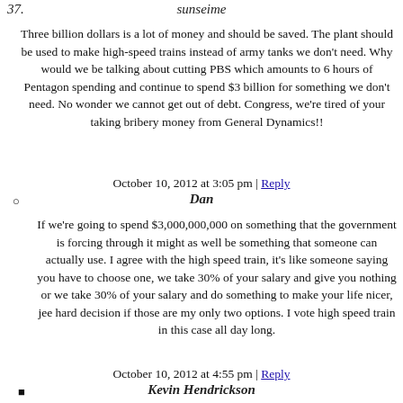37.
sunseime
Three billion dollars is a lot of money and should be saved. The plant should be used to make high-speed trains instead of army tanks we don't need. Why would we be talking about cutting PBS which amounts to 6 hours of Pentagon spending and continue to spend $3 billion for something we don't need. No wonder we cannot get out of debt. Congress, we're tired of your taking bribery money from General Dynamics!!
October 10, 2012 at 3:05 pm | Reply
Dan
If we're going to spend $3,000,000,000 on something that the government is forcing through it might as well be something that someone can actually use. I agree with the high speed train, it's like someone saying you have to choose one, we take 30% of your salary and give you nothing or we take 30% of your salary and do something to make your life nicer, jee hard decision if those are my only two options. I vote high speed train in this case all day long.
October 10, 2012 at 4:55 pm | Reply
Kevin Hendrickson